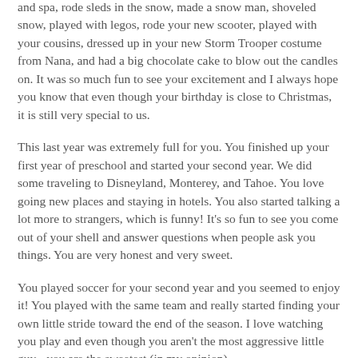and spa, rode sleds in the snow, made a snow man, shoveled snow, played with legos, rode your new scooter, played with your cousins, dressed up in your new Storm Trooper costume from Nana, and had a big chocolate cake to blow out the candles on. It was so much fun to see your excitement and I always hope you know that even though your birthday is close to Christmas, it is still very special to us.
This last year was extremely full for you. You finished up your first year of preschool and started your second year. We did some traveling to Disneyland, Monterey, and Tahoe. You love going new places and staying in hotels. You also started talking a lot more to strangers, which is funny! It's so fun to see you come out of your shell and answer questions when people ask you things. You are very honest and very sweet.
You played soccer for your second year and you seemed to enjoy it! You played with the same team and really started finding your own little stride toward the end of the season. I love watching you play and even though you aren't the most aggressive little guy - you are the sweetest (in my opinion).